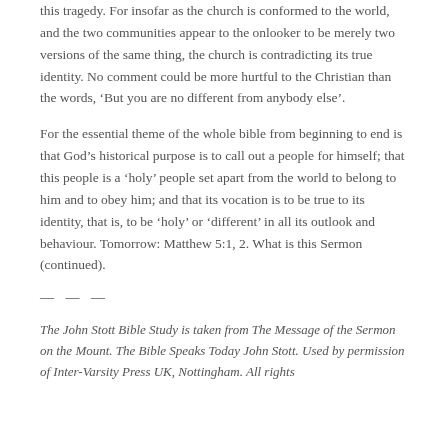this tragedy. For insofar as the church is conformed to the world, and the two communities appear to the onlooker to be merely two versions of the same thing, the church is contradicting its true identity. No comment could be more hurtful to the Christian than the words, ‘But you are no different from anybody else’.
For the essential theme of the whole bible from beginning to end is that God’s historical purpose is to call out a people for himself; that this people is a ‘holy’ people set apart from the world to belong to him and to obey him; and that its vocation is to be true to its identity, that is, to be ‘holy’ or ‘different’ in all its outlook and behaviour. Tomorrow: Matthew 5:1, 2. What is this Sermon (continued).
— — —
The John Stott Bible Study is taken from The Message of the Sermon on the Mount. The Bible Speaks Today John Stott. Used by permission of Inter-Varsity Press UK, Nottingham. All rights